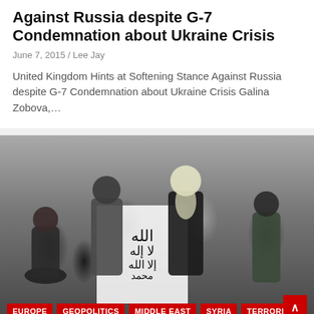Against Russia despite G-7 Condemnation about Ukraine Crisis
June 7, 2015 / Lee Jay
United Kingdom Hints at Softening Stance Against Russia despite G-7 Condemnation about Ukraine Crisis Galina Zobova,...
[Figure (photo): Group of armed men, one holding a flag with Arabic script. Tags overlay at bottom: EUROPE, GEOPOLITICS, MIDDLE EAST, SYRIA, TERRORISM]
How Belgium Became a Top Exporter of Jihad